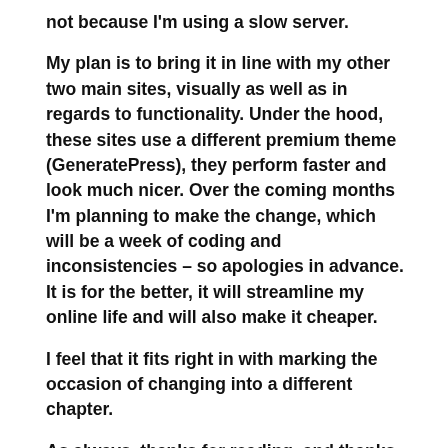not because I'm using a slow server.
My plan is to bring it in line with my other two main sites, visually as well as in regards to functionality. Under the hood, these sites use a different premium theme (GeneratePress), they perform faster and look much nicer. Over the coming months I'm planning to make the change, which will be a week of coding and inconsistencies – so apologies in advance. It is for the better, it will streamline my online life and will also make it cheaper.
I feel that it fits right in with marking the occasion of changing into a different chapter.
As always, thanks for reading, and thanks for taking an interest in my journey.
Second Ocular Migraine Incident